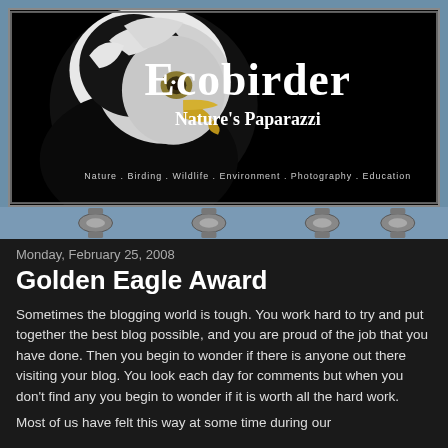[Figure (logo): Ecobirder blog banner with bald eagle photo on black background. Large text reads 'Ecobirder' and subtitle 'Nature's Paparazzi'. Bottom tagline: 'Nature . Birding . Wildlife . Environment . Photography . Education']
Monday, February 25, 2008
Golden Eagle Award
Sometimes the blogging world is tough. You work hard to try and put together the best blog possible, and you are proud of the job that you have done. Then you begin to wonder if there is anyone out there visiting your blog. You look each day for comments but when you don't find any you begin to wonder if it is worth all the hard work.
Most of us have felt this way at some time during our